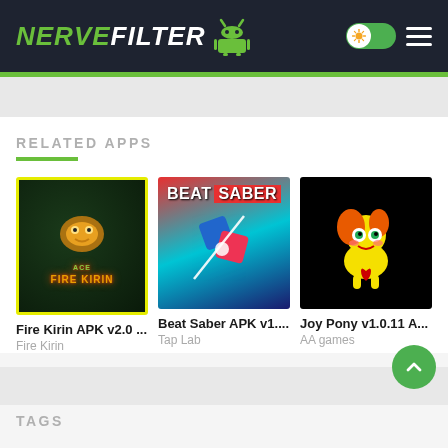NerveFilter
RELATED APPS
[Figure (screenshot): Fire Kirin APK app thumbnail with yellow border, dark background, golden creature and orange FIRE KIRIN text]
Fire Kirin APK v2.0 ...
Fire Kirin
[Figure (screenshot): Beat Saber APK app thumbnail with red and cyan gradient background and 3D saber blocks]
Beat Saber APK v1....
Tap Lab
[Figure (screenshot): Joy Pony v1.0.11 app thumbnail with black background and cartoon yellow pony character]
Joy Pony v1.0.11 A...
AA games
TAGS